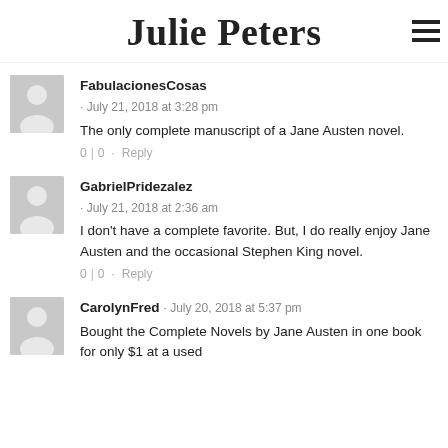Julie Peters
FabulacionesCosas · July 21, 2018 at 3:28 pm
The only complete manuscript of a Jane Austen novel.
0 | 0 · Reply
GabrielPridezalez · July 21, 2018 at 2:36 am
I don't have a complete favorite. But, I do really enjoy Jane Austen and the occasional Stephen King novel.
0 | 0 · Reply
CarolynFred · July 20, 2018 at 5:37 pm
Bought the Complete Novels by Jane Austen in one book for only $1 at a used